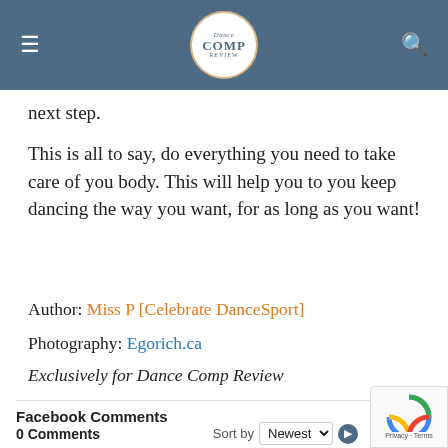COMP REVIEW [logo]
next step.
This is all to say, do everything you need to take care of you body. This will help you to you keep dancing the way you want, for as long as you want!
Author: Miss P [Celebrate DanceSport]
Photography: Egorich.ca
Exclusively for Dance Comp Review
Facebook Comments
0 Comments    Sort by Newest